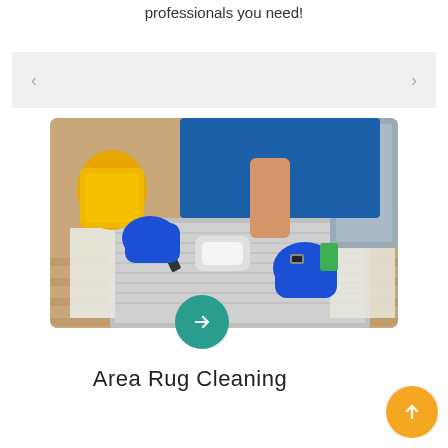professionals you need!
[Figure (screenshot): A light gray slider/carousel bar with left and right navigation arrows]
[Figure (photo): A professional cleaning technician in blue uniform and blue gloves using a steam cleaning machine on an area rug on a hardwood floor, with a yellow vacuum cleaner visible in the background]
Area Rug Cleaning